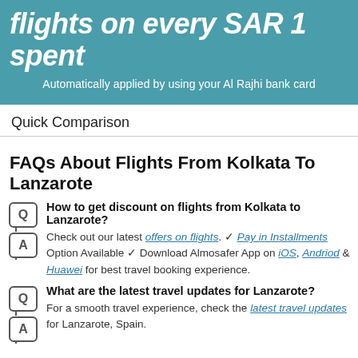flights on every SAR 1 spent
Automatically applied by using your Al Rajhi bank card
Quick Comparison
FAQs About Flights From Kolkata To Lanzarote
How to get discount on flights from Kolkata to Lanzarote?
Check out our latest offers on flights. ✓ Pay in Installments Option Available ✓ Download Almosafer App on iOS, Andriod & Huawei for best travel booking experience.
What are the latest travel updates for Lanzarote?
For a smooth travel experience, check the latest travel updates for Lanzarote, Spain.